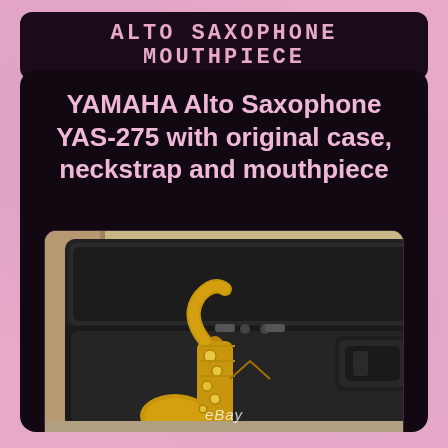ALTO SAXOPHONE MOUTHPIECE
YAMAHA Alto Saxophone YAS-275 with original case, neckstrap and mouthpiece
[Figure (photo): Yamaha Alto Saxophone YAS-275 in an open black case, with an eBay watermark visible at the bottom center of the image]
[Figure (photo): Partial view of a second photo showing more detail of the saxophone, cropped at the bottom of the page]